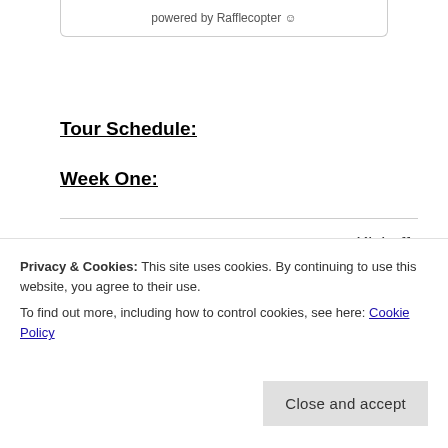powered by Rafflecopter 😊
Tour Schedule:
Week One:
Kickoff
1/18/2021 Rockstar Book Tours
Post
Privacy & Cookies: This site uses cookies. By continuing to use this website, you agree to their use. To find out more, including how to control cookies, see here: Cookie Policy
Close and accept
1/19/2021 Bookfounds YA   Interview